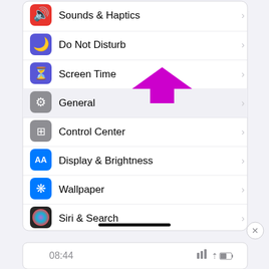[Figure (screenshot): iPhone Settings screen showing a list of settings options: Sounds & Haptics, Do Not Disturb, Screen Time, General (highlighted with a magenta arrow pointing to it), Control Center, Display & Brightness, Wallpaper, Siri & Search. Below is a status bar showing 08:44 time with signal and battery indicators. A close button (X) is visible in the bottom right area.]